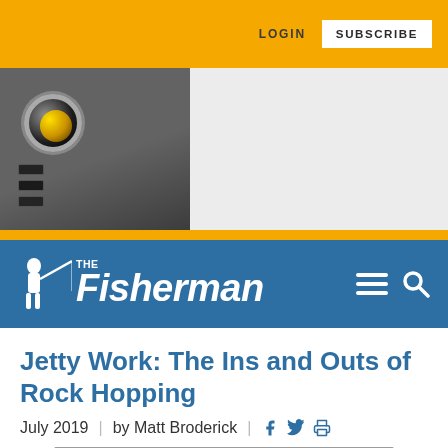LOGIN  SUBSCRIBE
[Figure (photo): Advertisement banner with a device/camera image on the left and white space on the right, set against a yellow background]
THE Fisherman (navigation bar with menu and search icons)
Jetty Work: The Ins and Outs of Rock Hopping
July 2019  |  by Matt Broderick  |  (social share icons: Facebook, Twitter, Print)
[Figure (photo): Black and white photograph of ocean waves, partial view at bottom of page]